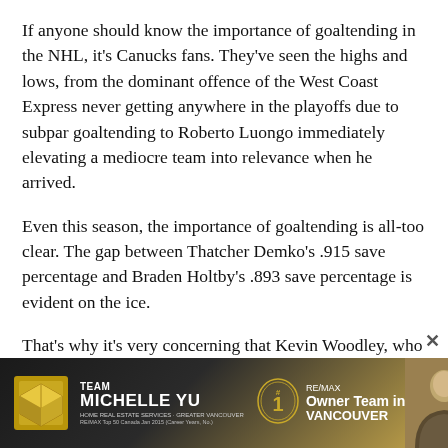If anyone should know the importance of goaltending in the NHL, it's Canucks fans. They've seen the highs and lows, from the dominant offence of the West Coast Express never getting anywhere in the playoffs due to subpar goaltending to Roberto Luongo immediately elevating a mediocre team into relevance when he arrived.
Even this season, the importance of goaltending is all-too clear. The gap between Thatcher Demko's .915 save percentage and Braden Holtby's .893 save percentage is evident on the ice.
That's why it's very concerning that Kevin Woodley, who writes for NHL.com and OnGoal Magazine, is starting to...
[Figure (infographic): Advertisement banner for Team Michelle Yu RE/MAX Owner Team in Vancouver, featuring a gold box logo, a #1 medallion, RE/MAX branding, and a photo of a woman.]